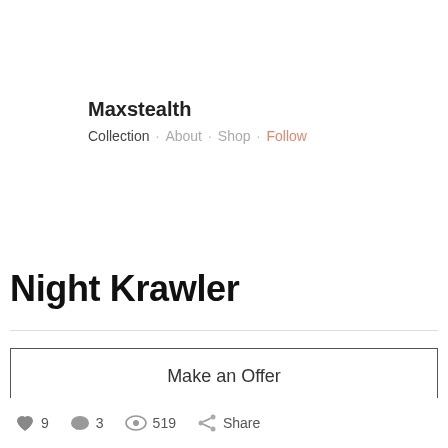Maxstealth
Collection · About · Shop · Follow
Night Krawler
Make an Offer
View recent offers.
9  3  519  Share